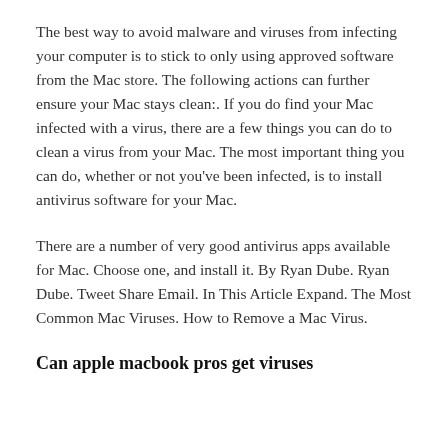The best way to avoid malware and viruses from infecting your computer is to stick to only using approved software from the Mac store. The following actions can further ensure your Mac stays clean:. If you do find your Mac infected with a virus, there are a few things you can do to clean a virus from your Mac. The most important thing you can do, whether or not you've been infected, is to install antivirus software for your Mac.
There are a number of very good antivirus apps available for Mac. Choose one, and install it. By Ryan Dube. Ryan Dube. Tweet Share Email. In This Article Expand. The Most Common Mac Viruses. How to Remove a Mac Virus.
Can apple macbook pros get viruses